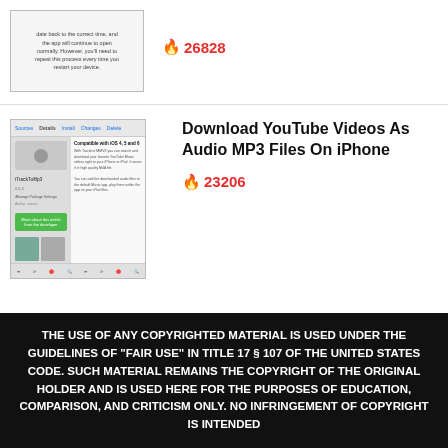[Figure (screenshot): Phone/app screenshot showing date/time settings with text about setting date back to the correct time]
🔥 26828
[Figure (screenshot): Screenshot of iPhone app interface showing YouTube to MP3 download feature with green button and media content]
Download YouTube Videos As Audio MP3 Files On iPhone
🔥 23206
THE USE OF ANY COPYRIGHTED MATERIAL IS USED UNDER THE GUIDELINES OF "FAIR USE" IN TITLE 17 § 107 OF THE UNITED STATES CODE. SUCH MATERIAL REMAINS THE COPYRIGHT OF THE ORIGINAL HOLDER AND IS USED HERE FOR THE PURPOSES OF EDUCATION, COMPARISON, AND CRITICISM ONLY. NO INFRINGEMENT OF COPYRIGHT IS INTENDED